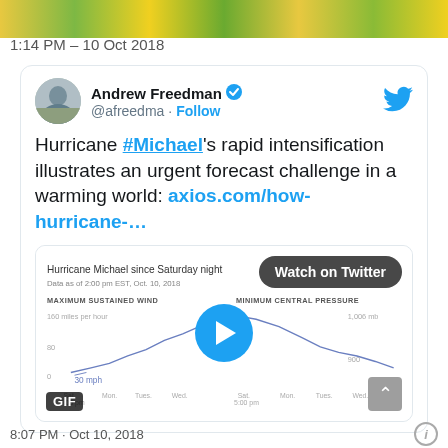[Figure (photo): Top banner with colorful green and yellow blurred image strip]
1:14 PM – 10 Oct 2018
[Figure (screenshot): Tweet by Andrew Freedman (@afreedma) with verified badge and Twitter bird icon. Tweet text: Hurricane #Michael's rapid intensification illustrates an urgent forecast challenge in a warming world: axios.com/how-hurricane-... Embedded media card showing chart of Hurricane Michael since Saturday night - Maximum Sustained Wind and Minimum Central Pressure, with a GIF badge, Watch on Twitter overlay, and play button. Scroll to top button visible.]
8:07 PM · Oct 10, 2018